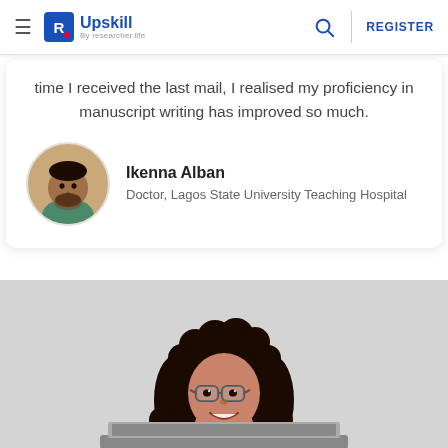Upskill By researcher.life | REGISTER
time I received the last mail, I realised my proficiency in manuscript writing has improved so much.
Ikenna Alban
Doctor, Lagos State University Teaching Hospital
[Figure (photo): Woman with curly hair and glasses, smiling, sitting in front of a laptop against a light gray background]